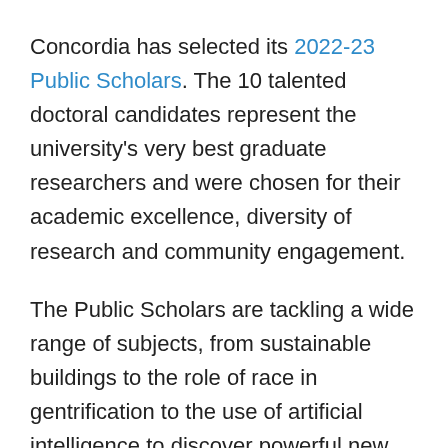Concordia has selected its 2022-23 Public Scholars. The 10 talented doctoral candidates represent the university's very best graduate researchers and were chosen for their academic excellence, diversity of research and community engagement.
The Public Scholars are tackling a wide range of subjects, from sustainable buildings to the role of race in gentrification to the use of artificial intelligence to discover powerful new antibiotics.